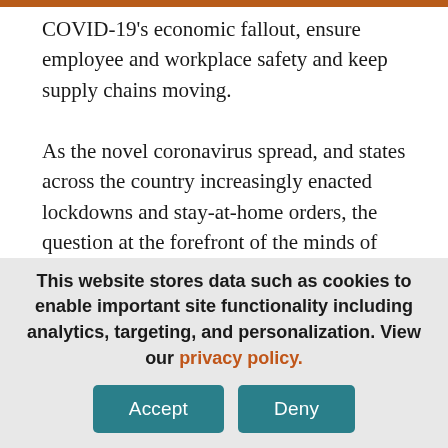COVID-19's economic fallout, ensure employee and workplace safety and keep supply chains moving.
As the novel coronavirus spread, and states across the country increasingly enacted lockdowns and stay-at-home orders, the question at the forefront of the minds of
This website stores data such as cookies to enable important site functionality including analytics, targeting, and personalization. View our privacy policy.